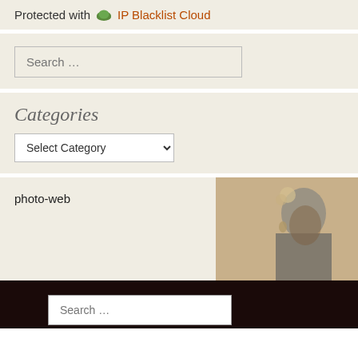Protected with 🌿 IP Blacklist Cloud
Search ...
Categories
Select Category
photo-web
[Figure (photo): Sepia-toned portrait of a woman with flowers in her hair and decorative earrings, looking to the side]
Search ...